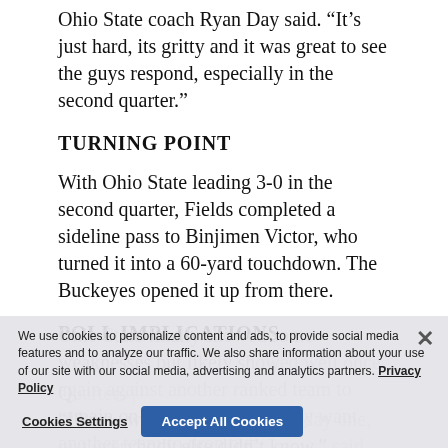Ohio State coach Ryan Day said. "It's just hard, its gritty and it was great to see the guys respond, especially in the second quarter."
TURNING POINT
With Ohio State leading 3-0 in the second quarter, Fields completed a sideline pass to Binjimen Victor, who turned it into a 60-yard touchdown. The Buckeyes opened it up from there.
POLL IMPLICATIONS
Ohio State finally showed some weaknesses but likely showed well once again against another ranked team to remain on top, though they may want another team to drop out. Ohio State | ...
"I knew we were special from day one, just everybody else didn't know," said Ohio State defensive end Chase Young, who has 8.5 sacks this season. "That's how we
We use cookies to personalize content and ads, to provide social media features and to analyze our traffic. We also share information about your use of our site with our social media, advertising and analytics partners. Privacy Policy
Cookies Settings
Accept All Cookies